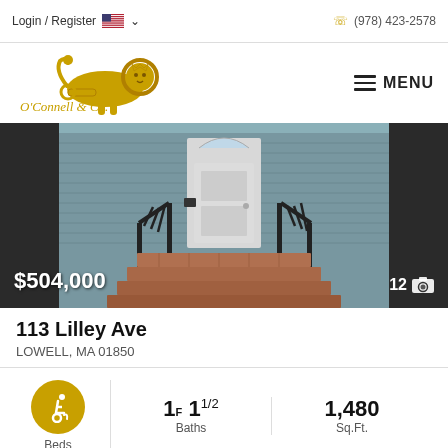Login / Register  (978) 423-2578
[Figure (logo): O'Connell & Co. LAER Realty Partners lion logo in gold]
[Figure (photo): Exterior photo of house at 113 Lilley Ave showing front door with iron railings and stairs, blue siding. Price overlay: $504,000, photo count: 12]
113 Lilley Ave
LOWELL, MA 01850
1F  1 1/2 Baths  Beds  1,480 Sq.Ft.